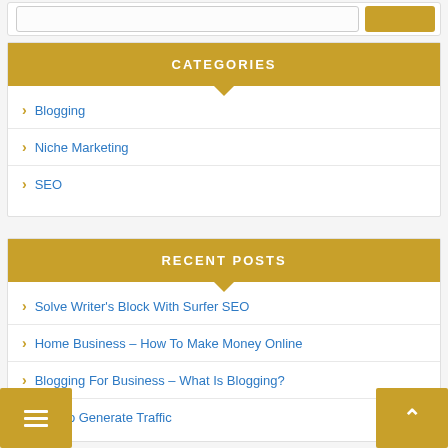CATEGORIES
Blogging
Niche Marketing
SEO
RECENT POSTS
Solve Writer's Block With Surfer SEO
Home Business – How To Make Money Online
Blogging For Business – What Is Blogging?
How to Generate Traffic